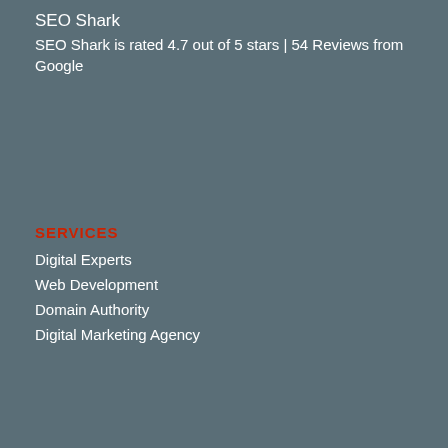SEO Shark
SEO Shark is rated 4.7 out of 5 stars | 54 Reviews from Google
SERVICES
Digital Experts
Web Development
Domain Authority
Digital Marketing Agency
SHORT LINKS
Privacy Policy
Terms & Conditions
Site...